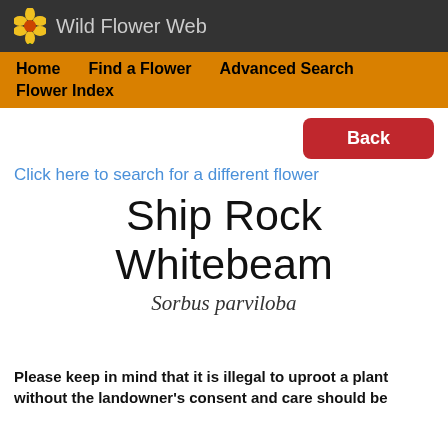🌼 Wild Flower Web
Home    Find a Flower    Advanced Search    Flower Index
Back
Click here to search for a different flower
Ship Rock Whitebeam
Sorbus parviloba
Please keep in mind that it is illegal to uproot a plant without the landowner's consent and care should be